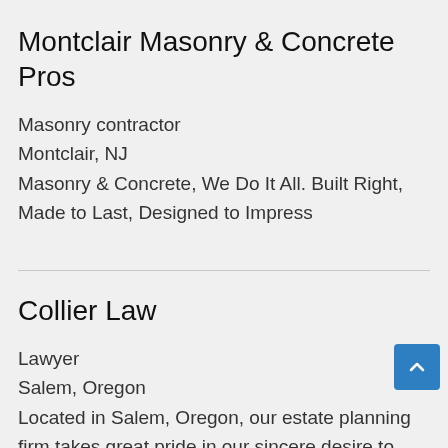Montclair Masonry & Concrete Pros
Masonry contractor
Montclair, NJ
Masonry & Concrete, We Do It All. Built Right, Made to Last, Designed to Impress
Collier Law
Lawyer
Salem, Oregon
Located in Salem, Oregon, our estate planning firm takes great pride in our sincere desire to understand your needs and those of your family to provide